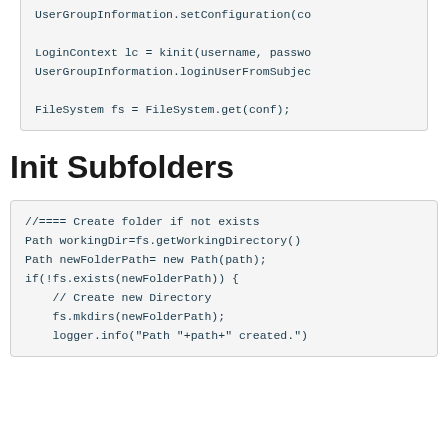UserGroupInformation.setConfiguration(co

LoginContext lc = kinit(username, passwo
UserGroupInformation.loginUserFromSubjec

FileSystem fs = FileSystem.get(conf);
Init Subfolders
//==== Create folder if not exists
Path workingDir=fs.getWorkingDirectory()
Path newFolderPath= new Path(path);
if(!fs.exists(newFolderPath)) {
    // Create new Directory
    fs.mkdirs(newFolderPath);
    logger.info("Path "+path+" created.")